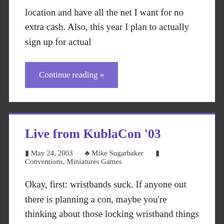location and have all the net I want for no extra cash. Also, this year I plan to actually sign up for actual
Continue reading »
Live from KublaCon '03
May 24, 2003   Mike Sugarbaker   Conventions, Miniatures Games
Okay, first: wristbands suck. If anyone out there is planning a con, maybe you're thinking about those locking wristband things as a handy, secure way of replacing those nastily